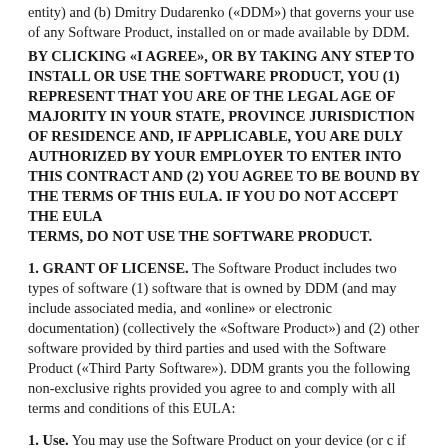entity) and (b) Dmitry Dudarenko («DDM») that governs your use of any Software Product, installed on or made available by DDM.
BY CLICKING «I AGREE», OR BY TAKING ANY STEP TO INSTALL OR USE THE SOFTWARE PRODUCT, YOU (1) REPRESENT THAT YOU ARE OF THE LEGAL AGE OF MAJORITY IN YOUR STATE, PROVINCE JURISDICTION OF RESIDENCE AND, IF APPLICABLE, YOU ARE DULY AUTHORIZED BY YOUR EMPLOYER TO ENTER INTO THIS CONTRACT AND (2) YOU AGREE TO BE BOUND BY THE TERMS OF THIS EULA. IF YOU DO NOT ACCEPT THE EULA TERMS, DO NOT USE THE SOFTWARE PRODUCT.
1. GRANT OF LICENSE. The Software Product includes two types of software (1) software that is owned by DDM (and may include associated media, and «online» or electronic documentation) (collectively the «Software Product») and (2) other software provided by third parties and used with the Software Product («Third Party Software»). DDM grants you the following non-exclusive rights provided you agree to and comply with all terms and conditions of this EULA:
1. Use. You may use the Software Product on your device (or c if the Software Product is sold to you for use on multiple devices). You may not use the Software Product on additional